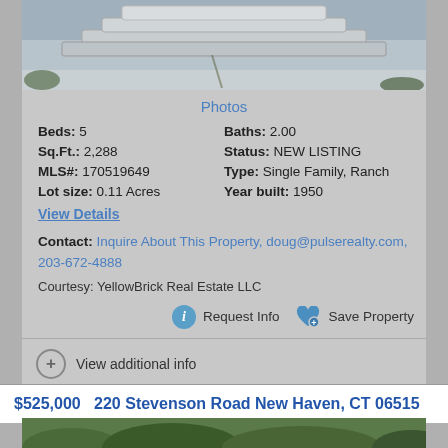[Figure (photo): Top portion of a property photo showing stone steps or pavement with greenery]
Photos
Beds: 5   Baths: 2.00
Sq.Ft.: 2,288   Status: NEW LISTING
MLS#: 170519649   Type: Single Family, Ranch
Lot size: 0.11 Acres   Year built: 1950
View Details
Contact: Inquire About This Property, doug@pulserealty.com, 203-672-4888
Courtesy: YellowBrick Real Estate LLC
Request Info   Save Property
View additional info
$525,000   220 Stevenson Road New Haven, CT 06515
[Figure (photo): Bottom portion showing green foliage/trees at a property]